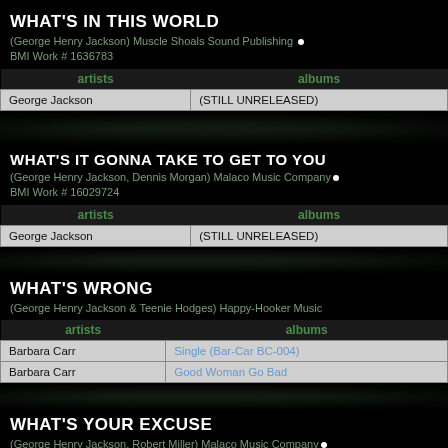WHAT'S IN THIS WORLD
(George Henry Jackson) Muscle Shoals Sound Publishing • BMI Work # 1636783
| artists | albums |
| --- | --- |
| George Jackson | (STILL UNRELEASED) |
WHAT'S IT GONNA TAKE TO GET TO YOU
(George Henry Jackson, Dennis Morgan) Malaco Music Company • BMI Work # 16029724
| artists | albums |
| --- | --- |
| George Jackson | (STILL UNRELEASED) |
WHAT'S WRONG
(George Henry Jackson & Teenie Hodges) Happy-Hooker Music
| artists | albums |
| --- | --- |
| Barbara Carr | Single (Bar-Car BC-004) |
| Barbara Carr | Good Woman Go Bad |
WHAT'S YOUR EXCUSE
(George Henry Jackson, Robert Miller) Malaco Music Company •